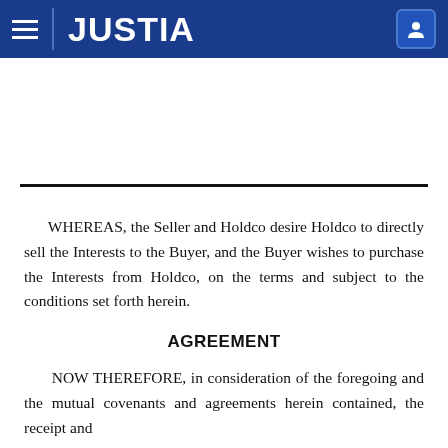JUSTIA
WHEREAS, the Seller and Holdco desire Holdco to directly sell the Interests to the Buyer, and the Buyer wishes to purchase the Interests from Holdco, on the terms and subject to the conditions set forth herein.
AGREEMENT
NOW THEREFORE, in consideration of the foregoing and the mutual covenants and agreements herein contained, the receipt and